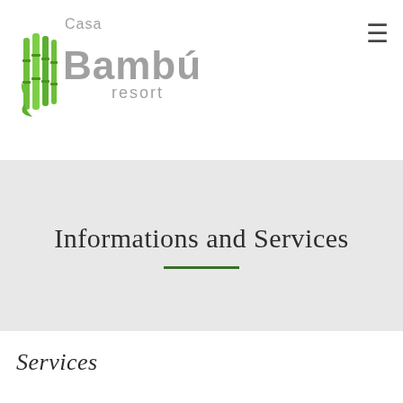[Figure (logo): Casa Bambú resort logo with bamboo stalks and leaf graphic, text in gray]
Informations and Services
Services